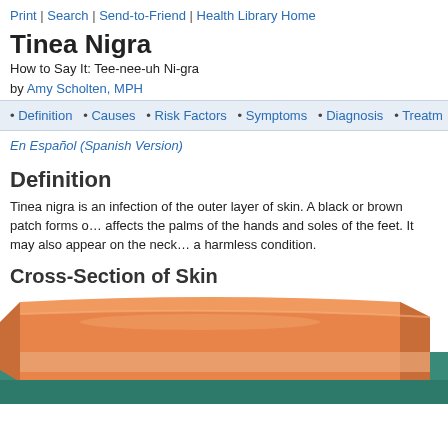Print | Search | Send-to-Friend | Health Library Home
Tinea Nigra
How to Say It: Tee-nee-uh Ni-gra
by Amy Scholten, MPH
• Definition • Causes • Risk Factors • Symptoms • Diagnosis • Treatm…
En Español (Spanish Version)
Definition
Tinea nigra is an infection of the outer layer of skin. A black or brown patch forms o… affects the palms of the hands and soles of the feet. It may also appear on the neck… a harmless condition.
Cross-Section of Skin
[Figure (illustration): Medical illustration showing a cross-section of skin layers, depicted in orange/peach tones with layered tissue visible]